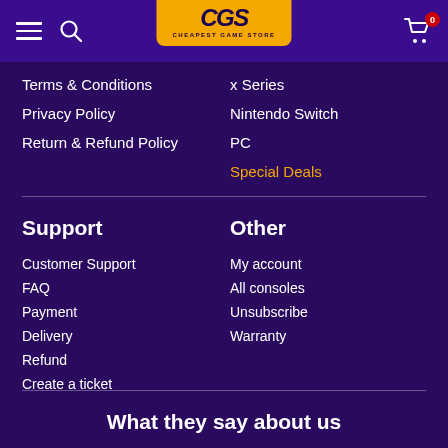[Figure (logo): CGS Cheapest Game Store logo on golden background in header]
Terms & Conditions
Privacy Policy
Return & Refund Policy
x Series
Nintendo Switch
PC
Special Deals
Support
Customer Support
FAQ
Payment
Delivery
Refund
Create a ticket
Other
My account
All consoles
Unsubscribe
Warranty
What they say about us